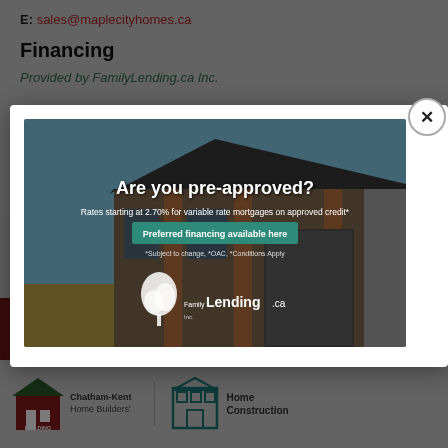E: sales@maplecityhomes.ca
Financing
Provided by FamilyLending.ca Inc.
[Figure (photo): FamilyLending.ca advertisement banner showing a modern brick home. Text overlay reads: 'Are you pre-approved? Rates starting at 2.70% for variable rate mortgages on approved credit* Preferred financing available here *Subject to change, *OAC, *Conditions Apply' with FamilyLending.ca Inc. logo and tree icon.]
Website by Abstract Marketing
[Figure (logo): Building industry logos at bottom: a red/green building logo on the left labeled 'BUILDING', followed by 'Chatham-Kent Home Builders' text, and a teal/blue home construction icon with 'Home Construction' text.]